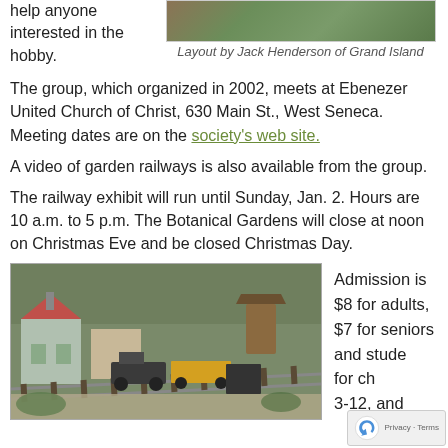help anyone interested in the hobby.
[Figure (photo): Outdoor garden railway scene with trees and foliage]
Layout by Jack Henderson of Grand Island
The group, which organized in 2002, meets at Ebenezer United Church of Christ, 630 Main St., West Seneca. Meeting dates are on the society's web site.
A video of garden railways is also available from the group.
The railway exhibit will run until Sunday, Jan. 2. Hours are 10 a.m. to 5 p.m. The Botanical Gardens will close at noon on Christmas Eve and be closed Christmas Day.
[Figure (photo): Model railway layout showing miniature buildings, a steam locomotive, water tower, and train cars on tracks with scenery]
Admission is $8 for adults,  $7 for seniors and stude for ch 3-12, and